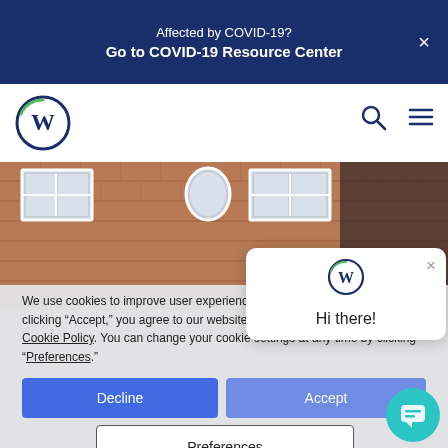Affected by COVID-19?
Go to COVID-19 Resource Center
[Figure (logo): W letter logo in circle with blue and green arc]
[Figure (photo): University building exterior with brick facade and white windows, person with dark hair visible on right]
We use cookies to improve user experience and analyze website traffic. By clicking “Accept,” you agree to our website’s cookie use as described in our Cookie Policy. You can change your cookie settings at any time by clicking “Preferences.”
[Figure (screenshot): Chat popup with W logo and Hi there! greeting with close button]
[Figure (other): Chat support floating action button in teal]